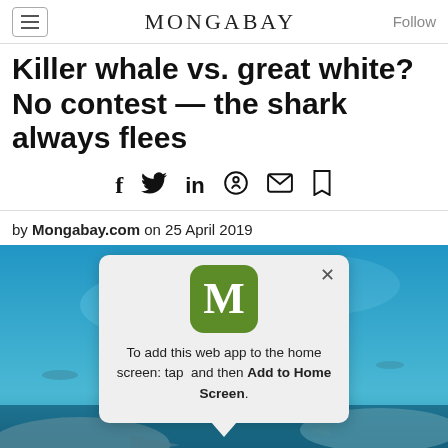MONGABAY
Killer whale vs. great white? No contest — the shark always flees
by Mongabay.com on 25 April 2019
[Figure (photo): Underwater photo of great white shark with blue water background, partially obscured by a mobile app install popup for Mongabay. Popup contains a green app icon with letter M and text: 'To add this web app to the home screen: tap and then Add to Home Screen.']